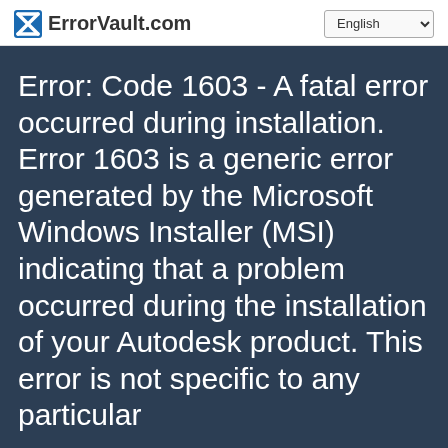ErrorVault.com | English
Error: Code 1603 - A fatal error occurred during installation. Error 1603 is a generic error generated by the Microsoft Windows Installer (MSI) indicating that a problem occurred during the installation of your Autodesk product. This error is not specific to any particular
Error Troubleshooting > Runtime Errors > Autodesk Inc. > AutoCAD > Code 1603